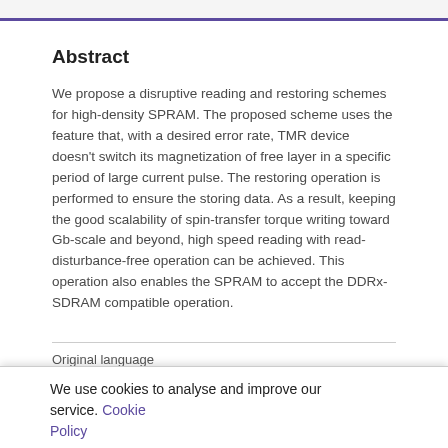Abstract
We propose a disruptive reading and restoring schemes for high-density SPRAM. The proposed scheme uses the feature that, with a desired error rate, TMR device doesn't switch its magnetization of free layer in a specific period of large current pulse. The restoring operation is performed to ensure the storing data. As a result, keeping the good scalability of spin-transfer torque writing toward Gb-scale and beyond, high speed reading with read-disturbance-free operation can be achieved. This operation also enables the SPRAM to accept the DDRx-SDRAM compatible operation.
Original language
English
We use cookies to analyse and improve our service. Cookie Policy